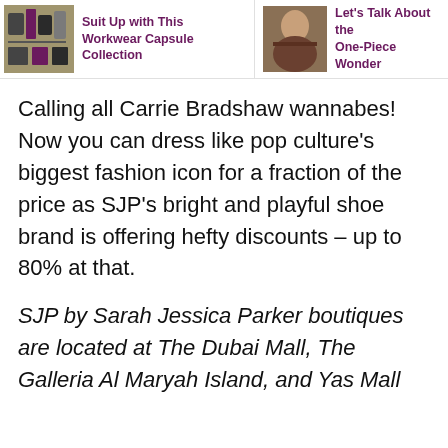[Figure (photo): Workwear capsule collection flat lay of clothing items]
Suit Up with This Workkwear Capsule Collection
[Figure (photo): Person wearing a one-piece outfit]
Let's Talk About the One-Piece Wonder
Calling all Carrie Bradshaw wannabes! Now you can dress like pop culture's biggest fashion icon for a fraction of the price as SJP's bright and playful shoe brand is offering hefty discounts – up to 80% at that.
SJP by Sarah Jessica Parker boutiques are located at The Dubai Mall, The Galleria Al Maryah Island, and Yas Mall